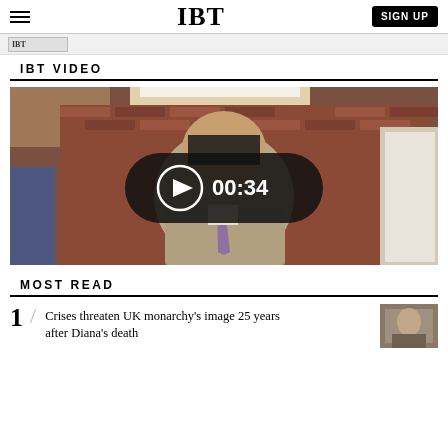IBT | SIGN UP
[Figure (screenshot): Partial banner/strip with IBT logo visible at top]
IBT VIDEO
[Figure (photo): Video thumbnail showing a man in a suit with a purple tie walking in a brick hallway. A play button overlay shows duration 00:34.]
MOST READ
Crises threaten UK monarchy's image 25 years after Diana's death